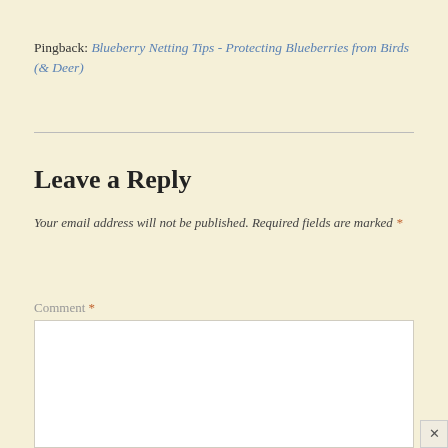Pingback: Blueberry Netting Tips - Protecting Blueberries from Birds (& Deer)
Leave a Reply
Your email address will not be published. Required fields are marked *
Comment *